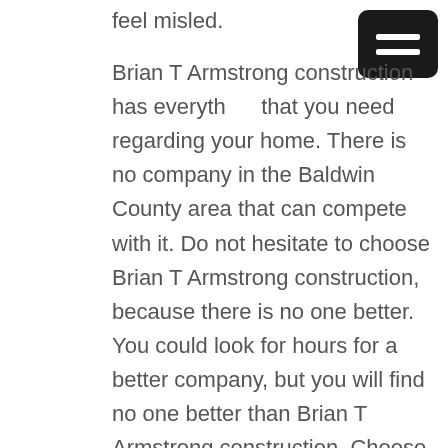feel misled.

Brian T Armstrong construction has everything that you need regarding your home. There is no company in the Baldwin County area that can compete with it. Do not hesitate to choose Brian T Armstrong construction, because there is no one better. You could look for hours for a better company, but you will find no one better than Brian T Armstrong construction. Choose for your remodel project or new-home project to be the best experience yet regarding your home. Choose to not have any hassle. There are no hidden fees with Brian T Armstrong construction, and you will know exactly what you are paying for. We will also provide you